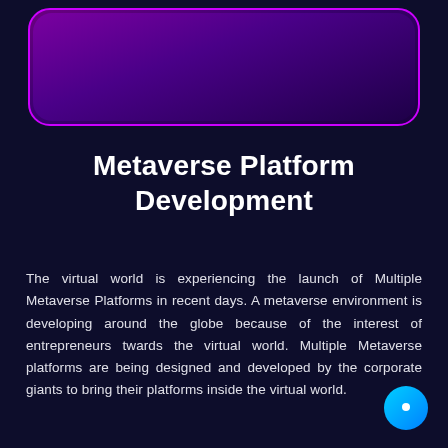[Figure (illustration): Purple gradient banner/header card with rounded corners and magenta/purple border at the top of the page]
Metaverse Platform Development
The virtual world is experiencing the launch of Multiple Metaverse Platforms in recent days. A metaverse environment is developing around the globe because of the interest of entrepreneurs twards the virtual world. Multiple Metaverse platforms are being designed and developed by the corporate giants to bring their platforms inside the virtual world.